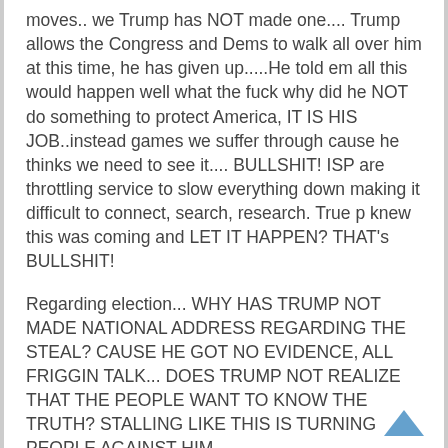moves.. we Trump has NOT made one.... Trump allows the Congress and Dems to walk all over him at this time, he has given up.....He told em all this would happen well what the fuck why did he NOT do something to protect America, IT IS HIS JOB..instead games we suffer through cause he thinks we need to see it.... BULLSHIT! ISP are throttling service to slow everything down making it difficult to connect, search, research. True p knew this was coming and LET IT HAPPEN? THAT's BULLSHIT!
Regarding election... WHY HAS TRUMP NOT MADE NATIONAL ADDRESS REGARDING THE STEAL? CAUSE HE GOT NO EVIDENCE, ALL FRIGGIN TALK... DOES TRUMP NOT REALIZE THAT THE PEOPLE WANT TO KNOW THE TRUTH? STALLING LIKE THIS IS TURNING PEOPLE AGAINST HIM.....